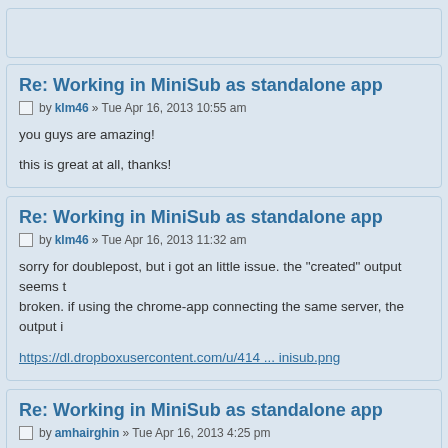Re: Working in MiniSub as standalone app
by klm46 » Tue Apr 16, 2013 10:55 am
you guys are amazing!

this is great at all, thanks!
Re: Working in MiniSub as standalone app
by klm46 » Tue Apr 16, 2013 11:32 am
sorry for doublepost, but i got an little issue. the "created" output seems t broken. if using the chrome-app connecting the same server, the output i
https://dl.dropboxusercontent.com/u/414 ... inisub.png
Re: Working in MiniSub as standalone app
by amhairghin » Tue Apr 16, 2013 4:25 pm
klm46 wrote:
sorry for doublepost, but i got an little issue. the "created" output seems broken. if using the chrome-app connecting the same server, the outpu